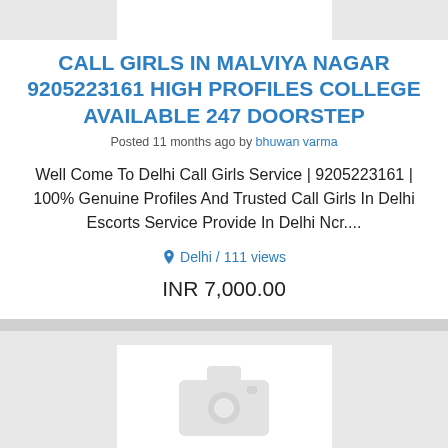[Figure (screenshot): Top card image placeholder area, white rectangle on grey background]
CALL GIRLS IN MALVIYA NAGAR 9205223161 HIGH PROFILES COLLEGE AVAILABLE 247 DOORSTEP
Posted 11 months ago by bhuwan varma
Well Come To Delhi Call Girls Service | 9205223161 | 100% Genuine Profiles And Trusted Call Girls In Delhi Escorts Service Provide In Delhi Ncr....
Delhi / 111 views
INR 7,000.00
[Figure (photo): Second card with grey background and camera placeholder icon]